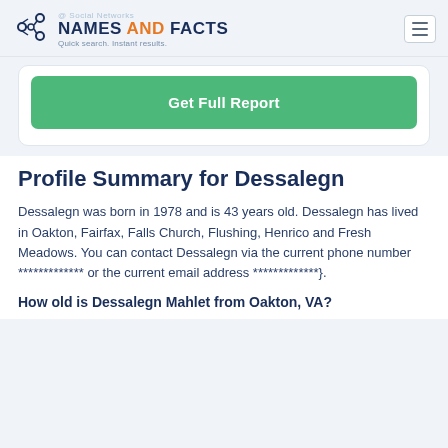NAMES AND FACTS — Quick search. Instant results.
Get Full Report
Profile Summary for Dessalegn
Dessalegn was born in 1978 and is 43 years old. Dessalegn has lived in Oakton, Fairfax, Falls Church, Flushing, Henrico and Fresh Meadows. You can contact Dessalegn via the current phone number ************* or the current email address *************}.
How old is Dessalegn Mahlet from Oakton, VA?